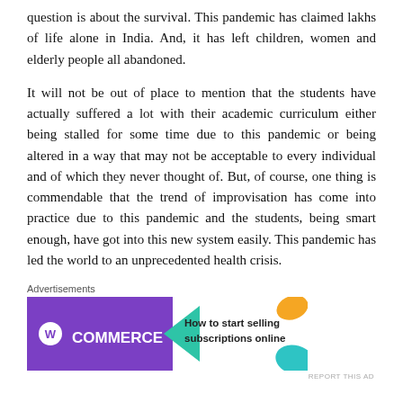question is about the survival. This pandemic has claimed lakhs of life alone in India. And, it has left children, women and elderly people all abandoned.
It will not be out of place to mention that the students have actually suffered a lot with their academic curriculum either being stalled for some time due to this pandemic or being altered in a way that may not be acceptable to every individual and of which they never thought of. But, of course, one thing is commendable that the trend of improvisation has come into practice due to this pandemic and the students, being smart enough, have got into this new system easily. This pandemic has led the world to an unprecedented health crisis.
[Figure (other): WooCommerce advertisement banner with purple background, green arrow, and text 'How to start selling subscriptions online']